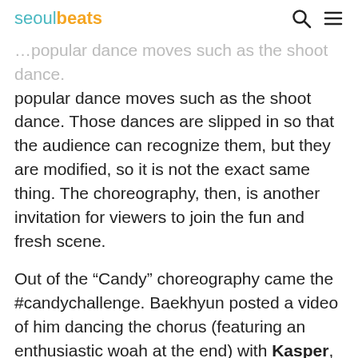seoulbeats
popular dance moves such as the shoot dance. Those dances are slipped in so that the audience can recognize them, but they are modified, so it is not the exact same thing. The choreography, then, is another invitation for viewers to join the fun and fresh scene.
Out of the “Candy” choreography came the #candychallenge. Baekhyun posted a video of him dancing the chorus (featuring an enthusiastic woah at the end) with Kasper, a choreographer, on his Instagram which also appeared on Kasper’s TikTok. Baekhyun’s fellow Exo and SuperM member, Kai,